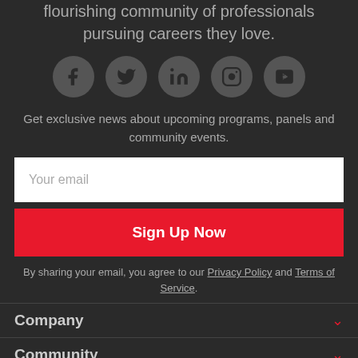flourishing community of professionals pursuing careers they love.
[Figure (illustration): Five social media icons in grey circles: Facebook, Twitter, LinkedIn, Instagram, YouTube]
Get exclusive news about upcoming programs, panels and community events.
Your email
Sign Up Now
By sharing your email, you agree to our Privacy Policy and Terms of Service.
Company
Community